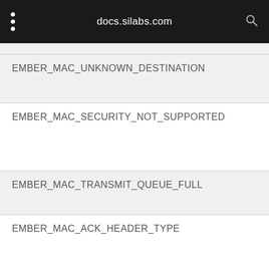docs.silabs.com
EMBER_MAC_UNKNOWN_DESTINATION
EMBER_MAC_SECURITY_NOT_SUPPORTED
EMBER_MAC_TRANSMIT_QUEUE_FULL
EMBER_MAC_ACK_HEADER_TYPE